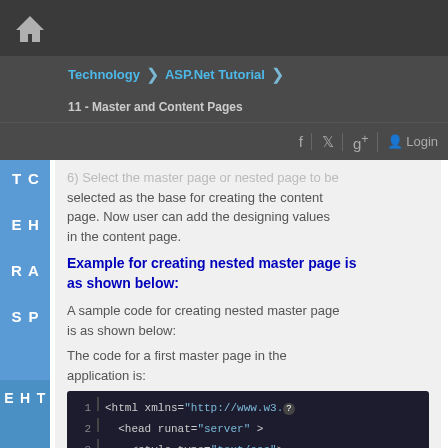Technology > ASP.Net Tutorial > 11 - Master and Content Pages
6) Select the master page or nested page to be selected as the base for creating the content page. Now user can add the designing values in the content page.
Example for creating nested master page is as shown below:
A sample code for creating nested master page is as shown below:
The code for a first master page in the application is:
[Figure (screenshot): Code editor showing HTML with lines: 1: <html xmlns="http://www.w3.", 2: <head runat="server" >, 3: <style type="text/css">]